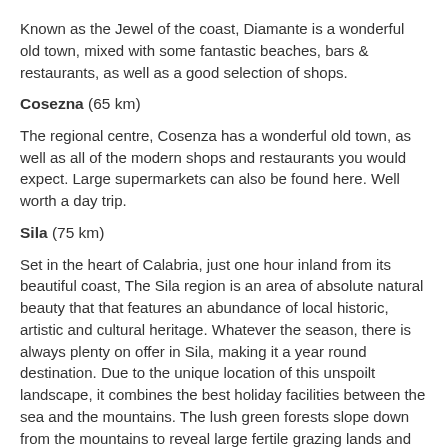Known as the Jewel of the coast, Diamante is a wonderful old town, mixed with some fantastic beaches, bars & restaurants, as well as a good selection of shops.
Cosezna (65 km)
The regional centre, Cosenza has a wonderful old town, as well as all of the modern shops and restaurants you would expect. Large supermarkets can also be found here. Well worth a day trip.
Sila (75 km)
Set in the heart of Calabria, just one hour inland from its beautiful coast, The Sila region is an area of absolute natural beauty that that features an abundance of local historic, artistic and cultural heritage. Whatever the season, there is always plenty on offer in Sila, making it a year round destination. Due to the unique location of this unspoilt landscape, it combines the best holiday facilities between the sea and the mountains. The lush green forests slope down from the mountains to reveal large fertile grazing lands and cultivated fields with several